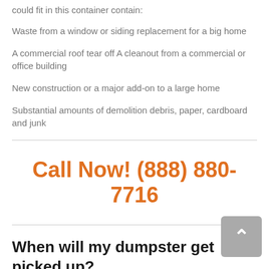could fit in this container contain:
Waste from a window or siding replacement for a big home
A commercial roof tear off A cleanout from a commercial or office building
New construction or a major add-on to a large home
Substantial amounts of demolition debris, paper, cardboard and junk
Call Now! (888) 880-7716
When will my dumpster get picked up?
You will generally schedule the total amount of time you intend to keep the dumpster when you first telephone to set up your